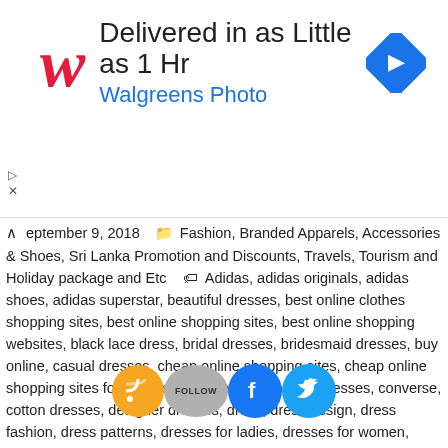[Figure (other): Walgreens Photo advertisement banner: 'Delivered in as Little as 1 Hr' with Walgreens script logo and navigation arrow icon]
September 9, 2018 | Fashion, Branded Apparels, Accessories & Shoes, Sri Lanka Promotion and Discounts, Travels, Tourism and Holiday package and Etc | Adidas, adidas originals, adidas shoes, adidas superstar, beautiful dresses, best online clothes shopping sites, best online shopping sites, best online shopping websites, black lace dress, bridal dresses, bridesmaid dresses, buy online, casual dresses, cheap online shopping sites, cheap online shopping sites for clothes, club dresses, cocktail dresses, converse, cotton dresses, designer dresses, dress, dress design, dress fashion, dress patterns, dresses for ladies, dresses for women, dresses women, e shopping, evening dresses, evening gowns, evening party dresses, fancy dress, fashion dresses, floral dresses, formal dresses, girls dresses, going out dresses, gowns, hot dresses, indian online shopping sites, lace dress, ladies dresses, ladies party dresses, levi's shirts, levi's jeans, levi's t shirts, levis t shirt, little black dress, maxi dresses, newdress, night dress, online buy, online clothing stores, online purchase, online purchase websites, online shop, online shopping, online shopping, online shopping fashion, online